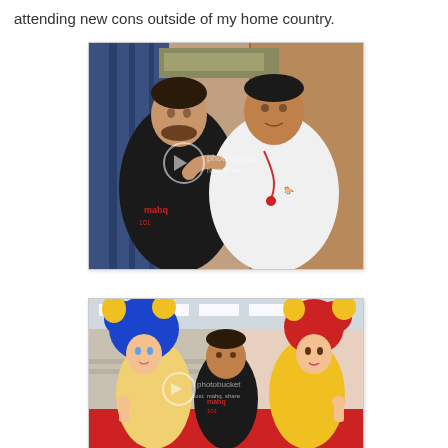attending new cons outside of my home country.
[Figure (photo): Two men posing together for a photo indoors. One man wearing a black t-shirt with 'mahq' logo, the other wearing a white polo shirt with a Ralph Lauren logo. A Photobucket watermark is visible.]
[Figure (photo): A group of people in colorful cosplay costumes — blue and yellow anime-style outfits — posing together in a large convention hall. A man in a black t-shirt with 'mahq' stands in the center. A Photobucket watermark is visible.]